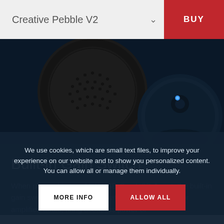Creative Pebble V2
[Figure (photo): Close-up photo of two Creative Pebble V2 speakers on a dark navy background. One speaker shows textured black grille, the other shows a blue LED indicator.]
Built-in Gain Switch
When plugged in to a 10W USB-C or USB-A port, the built-in gain switch in Pebble V2 activates high gain mode for amplified audio, firing acoustics power of
We use cookies, which are small text files, to improve your experience on our website and to show you personalized content. You can allow all or manage them individually.